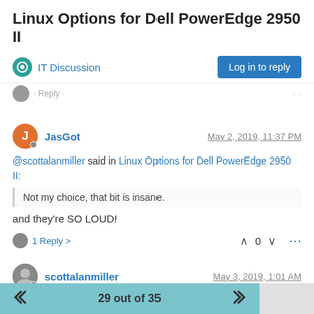Linux Options for Dell PowerEdge 2950 II
IT Discussion | Log in to reply
JasGot  May 2, 2019, 11:37 PM
@scottalanmiller said in Linux Options for Dell PowerEdge 2950 II:
Not my choice, that bit is insane.
and they’re SO LOUD!
1 Reply >  0
scottalanmiller  May 3, 2019, 1:01 AM
29 out of 35